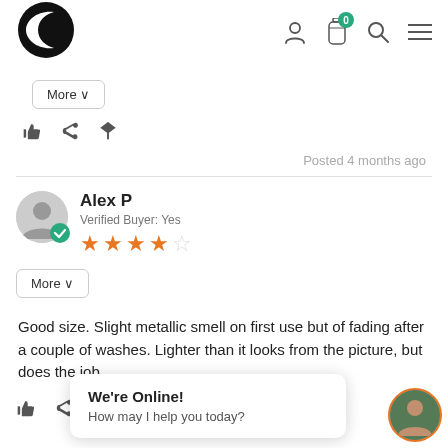[Figure (logo): Black circular logo with C shape / swoosh]
[Figure (infographic): Header navigation icons: user profile, water bottle with badge 0, search, hamburger menu]
More ∨
[Figure (infographic): Action icons: thumbs up, share, flag/report]
Posted 4 months ago
[Figure (infographic): User avatar with green verified checkmark badge]
Alex P
Verified Buyer: Yes
[Figure (infographic): 4 out of 5 star rating in orange]
More ∨
Good size. Slight metallic smell on first use but of fading after a couple of washes. Lighter than it looks from the picture, but does the job
[Figure (infographic): Action icons: thumbs up, share, flag/report]
We're Online!
How may I help you today?